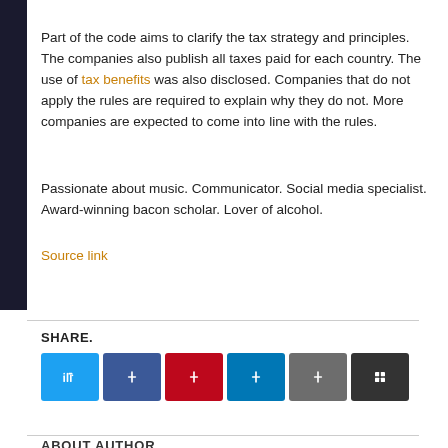Part of the code aims to clarify the tax strategy and principles. The companies also publish all taxes paid for each country. The use of tax benefits was also disclosed. Companies that do not apply the rules are required to explain why they do not. More companies are expected to come into line with the rules.
Passionate about music. Communicator. Social media specialist. Award-winning bacon scholar. Lover of alcohol.
Source link
SHARE.
[Figure (other): Row of six social share buttons: Twitter (light blue), Facebook (dark blue), Pinterest (red), LinkedIn (teal), Share (grey), Print (dark grey with grid icon)]
ABOUT AUTHOR